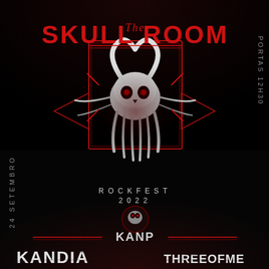[Figure (illustration): Concert/event poster for The Skull Room Rockfest 2022, dark background with a demonic skull illustration in red and white, decorative geometric patterns, featuring bands KANP, Kandia, and Threeofme. Date: 24 Setembro. Time: Portas 12h30.]